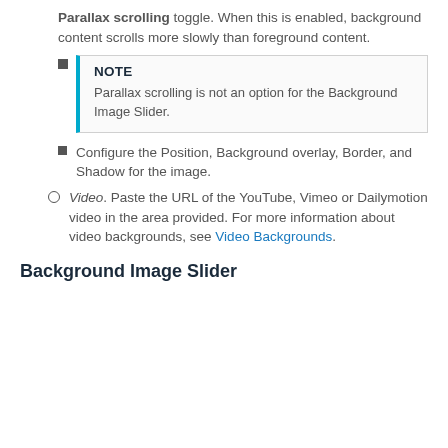Parallax scrolling toggle. When this is enabled, background content scrolls more slowly than foreground content.
NOTE
Parallax scrolling is not an option for the Background Image Slider.
Configure the Position, Background overlay, Border, and Shadow for the image.
Video. Paste the URL of the YouTube, Vimeo or Dailymotion video in the area provided. For more information about video backgrounds, see Video Backgrounds.
Background Image Slider